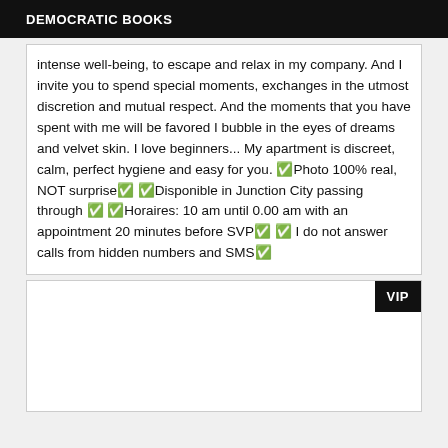DEMOCRATIC BOOKS
intense well-being, to escape and relax in my company. And I invite you to spend special moments, exchanges in the utmost discretion and mutual respect. And the moments that you have spent with me will be favored I bubble in the eyes of dreams and velvet skin. I love beginners... My apartment is discreet, calm, perfect hygiene and easy for you. ✅Photo 100% real, NOT surprise✅ ✅Disponible in Junction City passing through ✅ ✅Horaires: 10 am until 0.00 am with an appointment 20 minutes before SVP✅ ✅ I do not answer calls from hidden numbers and SMS✅
[Figure (other): White card area with VIP badge in top right corner]